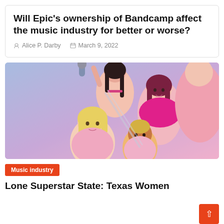Will Epic's ownership of Bandcamp affect the music industry for better or worse?
Alice P. Darby   March 9, 2022
[Figure (illustration): Illustrated image of four women in pink outfits, one holding a microphone, posed together against a blue-to-pink gradient background]
Music industry
Lone Superstar State: Texas Women